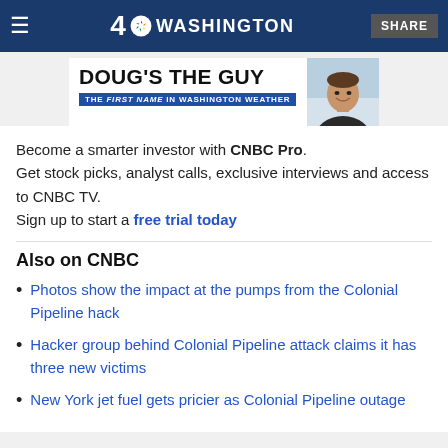4 NBC WASHINGTON | SHARE
[Figure (advertisement): Ad banner: DOUG'S THE GUY - THE FIRST NAME IN WASHINGTON WEATHER, with photo of man in suit]
Become a smarter investor with CNBC Pro. Get stock picks, analyst calls, exclusive interviews and access to CNBC TV. Sign up to start a free trial today
Also on CNBC
Photos show the impact at the pumps from the Colonial Pipeline hack
Hacker group behind Colonial Pipeline attack claims it has three new victims
New York jet fuel gets pricier as Colonial Pipeline outage